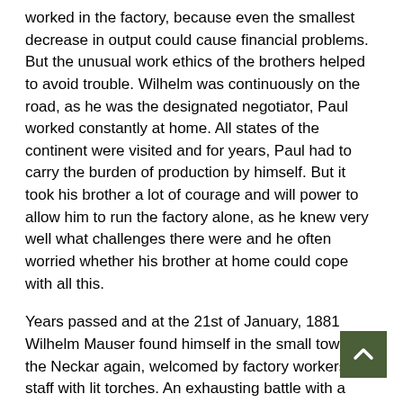worked in the factory, because even the smallest decrease in output could cause financial problems. But the unusual work ethics of the brothers helped to avoid trouble. Wilhelm was continuously on the road, as he was the designated negotiator, Paul worked constantly at home. All states of the continent were visited and for years, Paul had to carry the burden of production by himself. But it took his brother a lot of courage and will power to allow him to run the factory alone, as he knew very well what challenges there were and he often worried whether his brother at home could cope with all this.
Years passed and at the 21st of January, 1881 Wilhelm Mauser found himself in the small town at the Neckar again, welcomed by factory workers and staff with lit torches. An exhausting battle with a large competitor had drained his energy. It had been too much for him. He did see the introduction of the Mauser repeating rifle M71/84 being demonstrated to the old Emperor Wilhelm in the summer of 1881. But that was the conclusion of his life's work. He passed away in January, 1882.